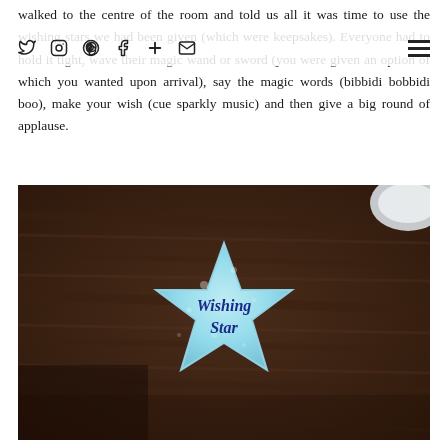walked to the centre of the room and told us all it was time to use the wishing stars we had been given (which were keepsakes). Everyone had to hold it tight, wave their magic wand or sword (you were given an option of which you wanted upon arrival), say the magic words (bibbidi bobbidi boo), make your wish (cue sparkly music) and then give a big round of applause.
[Figure (photo): A light blue glittery star-shaped keepsake labeled 'Wishing Star' in dark blue cursive script, resting on a dark wood surface with a white object partially visible at the top right corner.]